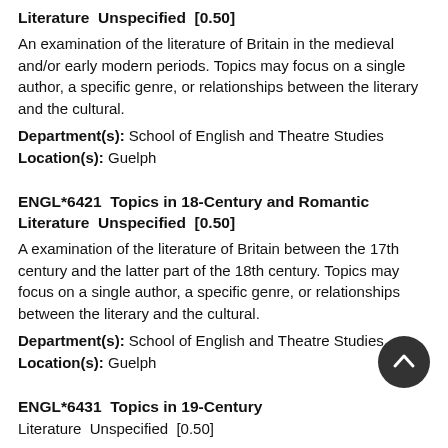Literature  Unspecified  [0.50]
An examination of the literature of Britain in the medieval and/or early modern periods. Topics may focus on a single author, a specific genre, or relationships between the literary and the cultural.
Department(s): School of English and Theatre Studies
Location(s): Guelph
ENGL*6421  Topics in 18-Century and Romantic Literature  Unspecified  [0.50]
A examination of the literature of Britain between the 17th century and the latter part of the 18th century. Topics may focus on a single author, a specific genre, or relationships between the literary and the cultural.
Department(s): School of English and Theatre Studies
Location(s): Guelph
ENGL*6431  Topics in 19-Century Literature  Unspecified  [0.50]